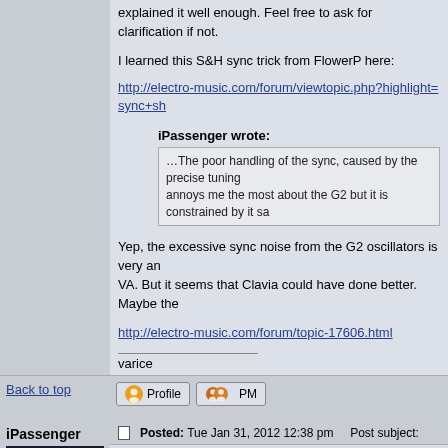explained it well enough. Feel free to ask for clarification if not.
I learned this S&H sync trick from FlowerP here:
http://electro-music.com/forum/viewtopic.php?highlight=sync+sh
iPassenger wrote:
…The poor handling of the sync, caused by the precise tuning annoys me the most about the G2 but it is constrained by it sa
Yep, the excessive sync noise from the G2 oscillators is very an VA. But it seems that Clavia could have done better. Maybe the
http://electro-music.com/forum/topic-17606.html
varice
Back to top
iPassenger
Posted: Tue Jan 31, 2012 12:38 pm    Post subject:
Ahh sorry i hadn't looked at the Patch. I have a vague memory o Lookng forward to spending some time with this patch.
jP (Ross)